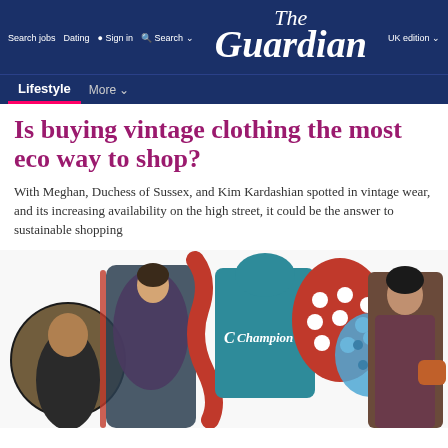Search jobs  Dating  Sign in  Search  The Guardian  UK edition
Lifestyle  More
Is buying vintage clothing the most eco way to shop?
With Meghan, Duchess of Sussex, and Kim Kardashian spotted in vintage wear, and its increasing availability on the high street, it could be the answer to sustainable shopping
[Figure (photo): Collage of vintage clothing and people including a Champion hoodie, a woman in a floral dress, Kim Kardashian in leopard print, Meghan Duchess of Sussex, and polka dot decorative elements]